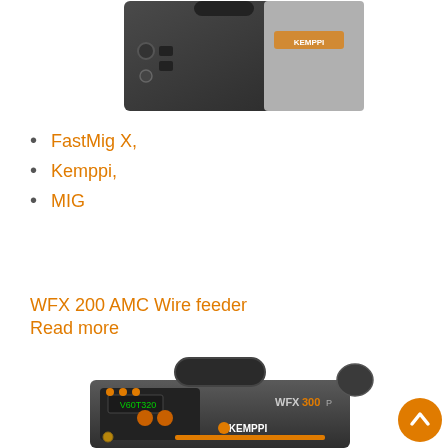[Figure (photo): Top partial view of a Kemppi welding machine/wire feeder, showing the back and side panel with connectors, against a white background.]
FastMig X,
Kemppi,
MIG
WFX 200 AMC Wire feeder
Read more
[Figure (photo): Kemppi WFX 300 P wire feeder device — a dark grey portable unit with orange accents, control panel with digital display, handle on top, and Kemppi branding on the front.]
[Figure (illustration): Orange circular back-to-top navigation button with a white upward chevron arrow.]